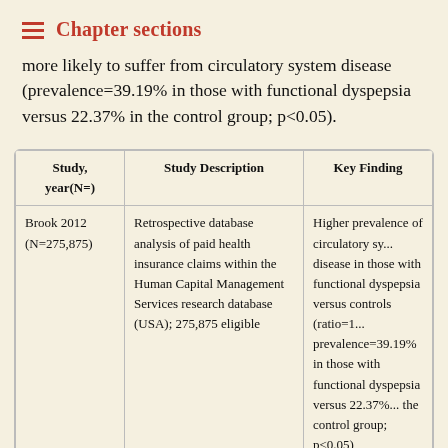Chapter sections
more likely to suffer from circulatory system disease (prevalence=39.19% in those with functional dyspepsia versus 22.37% in the control group; p<0.05).
| Study, year(N=) | Study Description | Key Finding |
| --- | --- | --- |
| Brook 2012 (N=275,875) | Retrospective database analysis of paid health insurance claims within the Human Capital Management Services research database (USA); 275,875 eligible ... | Higher prevalence of circulatory sy... disease in those with functional dyspepsia versus controls (ratio=1... prevalence=39.19% in those with functional dyspepsia versus 22.37%... the control group; p<0.05) |